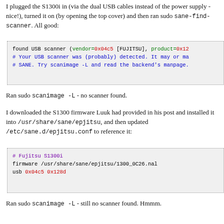I plugged the S1300i in (via the dual USB cables instead of the power supply - nice!), turned it on (by opening the top cover) and then ran sudo sane-find-scanner. All good:
[Figure (screenshot): Code box showing terminal output: found USB scanner (vendor=0x04c5 [FUJITSU], product=0x12... # Your USB scanner was (probably) detected. It may or ma... # SANE. Try scanimage -L and read the backend's manpage.]
Ran sudo scanimage -L - no scanner found.
I downloaded the S1300 firmware Luuk had provided in his post and installed it into /usr/share/sane/epjitsu, and then updated /etc/sane.d/epjitsu.conf to reference it:
[Figure (screenshot): Code box showing: # Fujitsu S1300i
firmware /usr/share/sane/epjitsu/1300_0C26.nal
usb 0x04c5 0x128d]
Ran sudo scanimage -L - still no scanner found. Hmmm.
Rebooted into windows, downloaded the Fujitsu ScanSnap Manager package and installed it. Grubbed around in C:/Windows and found the following 4 firmware packages: